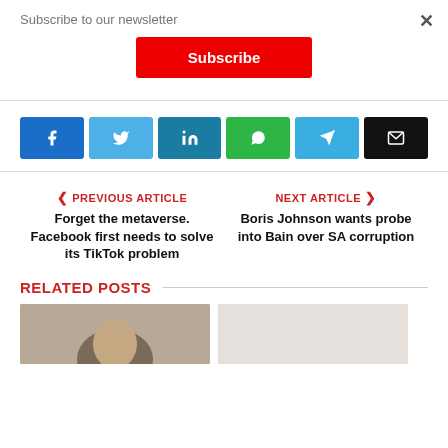Subscribe to our newsletter
Subscribe
[Figure (infographic): Social share buttons row: Facebook (blue), Twitter (light blue), LinkedIn (teal), WhatsApp (green), Telegram (blue), Email (black)]
PREVIOUS ARTICLE
Forget the metaverse. Facebook first needs to solve its TikTok problem
NEXT ARTICLE
Boris Johnson wants probe into Bain over SA corruption
RELATED POSTS
[Figure (photo): Partial photo of a person's head visible at bottom of page]